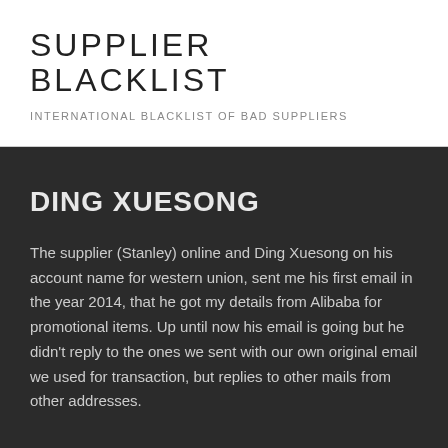SUPPLIER BLACKLIST
INTERNATIONAL BLACKLIST OF BAD SUPPLIERS
DING XUESONG
The supplier (Stanley) online and Ding Xuesong on his account name for western union, sent me his first email in the year 2014, that he got my details from Alibaba for promotional items. Up until now his email is going but he didn't reply to the ones we sent with our own original email we used for transaction, but replies to other mails from other addresses.